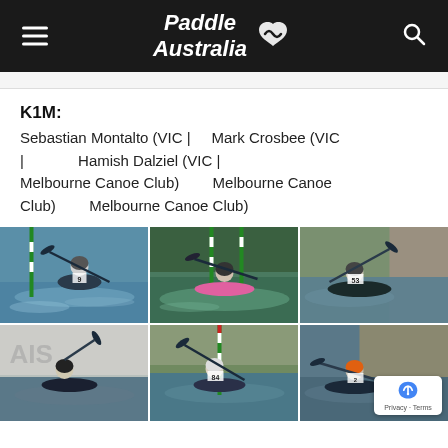Paddle Australia
K1M:
Sebastian Montalto (VIC | Melbourne Canoe Club)   Mark Crosbee (VIC | Melbourne Canoe Club)   Hamish Dalziel (VIC | Melbourne Canoe Club)
[Figure (photo): Six photos of kayakers competing in canoe slalom at what appears to be an AIS facility, navigating through whitewater gates.]